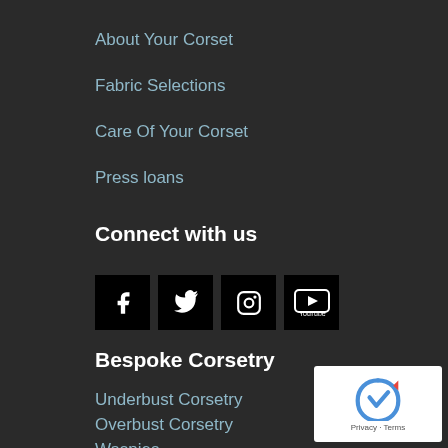About Your Corset
Fabric Selections
Care Of Your Corset
Press loans
Connect with us
[Figure (other): Social media icons: Facebook, Twitter, Instagram, YouTube]
Bespoke Corsetry
Underbust Corsetry
Overbust Corsetry
Waspies
[Figure (other): reCAPTCHA badge with Privacy and Terms links]